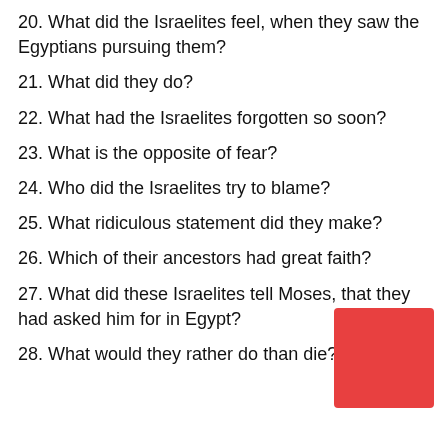20. What did the Israelites feel, when they saw the Egyptians pursuing them?
21. What did they do?
22. What had the Israelites forgotten so soon?
23. What is the opposite of fear?
24. Who did the Israelites try to blame?
25. What ridiculous statement did they make?
26. Which of their ancestors had great faith?
27. What did these Israelites tell Moses, that they had asked him for in Egypt?
28. What would they rather do than die?